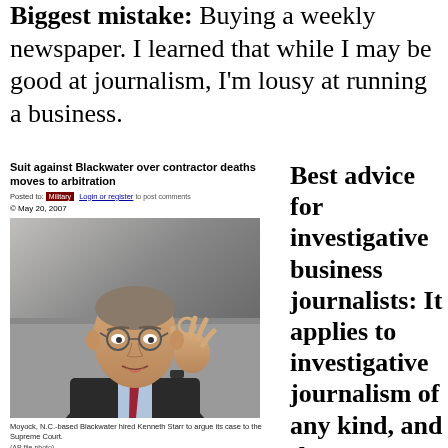Biggest mistake: Buying a weekly newspaper. I learned that while I may be good at journalism, I'm lousy at running a business.
Suit against Blackwater over contractor deaths moves to arbitration
Posted to: Military  Login or register to post comments
© May 20, 2007
[Figure (photo): Photo of a man in glasses and suit making an OK gesture with his hand, speaking]
Moyock, N.C.-based Blackwater hired Kenneth Starr to argue its case to the Supreme Court.
(AP file photo)
By BILL SIZEMORE
The Virginian-Pilot
Thanks to some high-stakes legal maneuvering, Blackwater USA may yet manage to avoid a public examination of the bloody event that catapulted the company to worldwide attention and changed the course of the Iraq war.
Bill Sizemore's series on Blackwater was a finalist for the Pulitzer Prize for Explanatory Reporting in 2007.
Best advice for investigative business journalists: It applies to investigative journalism of any kind, and there